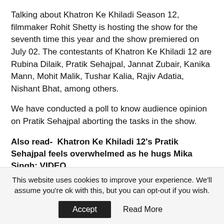Talking about Khatron Ke Khiladi Season 12, filmmaker Rohit Shetty is hosting the show for the seventh time this year and the show premiered on July 02. The contestants of Khatron Ke Khiladi 12 are Rubina Dilaik, Pratik Sehajpal, Jannat Zubair, Kanika Mann, Mohit Malik, Tushar Kalia, Rajiv Adatia, Nishant Bhat, among others.
We have conducted a poll to know audience opinion on Pratik Sehajpal aborting the tasks in the show.
Also read-  Khatron Ke Khiladi 12's Pratik Sehajpal feels overwhelmed as he hugs Mika Singh; VIDEO
[Figure (infographic): Advertisement banner for Garba 2022 event by Atul Purohit, featuring India event branding, decorative text, photo of a person, dates SEP-OCT 2022, organizer Hemant Brahmbhatt, phone number 773 552 6083]
This website uses cookies to improve your experience. We'll assume you're ok with this, but you can opt-out if you wish.